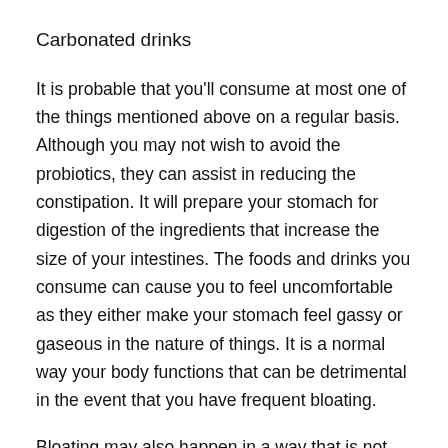Carbonated drinks
It is probable that you’ll consume at most one of the things mentioned above on a regular basis. Although you may not wish to avoid the probiotics, they can assist in reducing the constipation. It will prepare your stomach for digestion of the ingredients that increase the size of your intestines. The foods and drinks you consume can cause you to feel uncomfortable as they either make your stomach feel gassy or gaseous in the nature of things. It is a normal way your body functions that can be detrimental in the event that you have frequent bloating.
Bloating may also happen in a way that is not